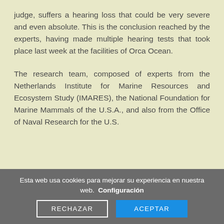judge, suffers a hearing loss that could be very severe and even absolute. This is the conclusion reached by the experts, having made multiple hearing tests that took place last week at the facilities of Orca Ocean.
The research team, composed of experts from the Netherlands Institute for Marine Resources and Ecosystem Study (IMARES), the National Foundation for Marine Mammals of the U.S.A., and also from the Office of Naval Research for the U.S.
Esta web usa cookies para mejorar su experiencia en nuestra web.  Configuración
RECHAZAR
ACEPTAR